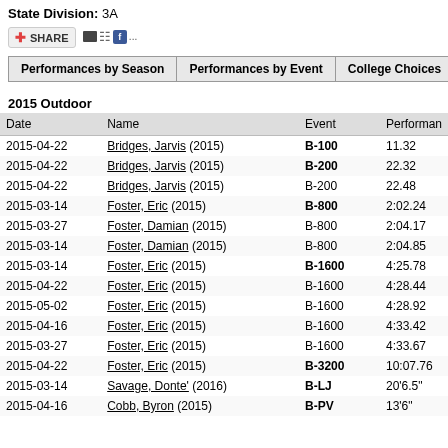State Division: 3A
[Figure (screenshot): Share button bar with social media icons]
Performances by Season | Performances by Event | College Choices | All Perfo...
2015 Outdoor
| Date | Name | Event | Performance |
| --- | --- | --- | --- |
| 2015-04-22 | Bridges, Jarvis (2015) | B-100 | 11.32 |
| 2015-04-22 | Bridges, Jarvis (2015) | B-200 | 22.32 |
| 2015-04-22 | Bridges, Jarvis (2015) | B-200 | 22.48 |
| 2015-03-14 | Foster, Eric (2015) | B-800 | 2:02.24 |
| 2015-03-27 | Foster, Damian (2015) | B-800 | 2:04.17 |
| 2015-03-14 | Foster, Damian (2015) | B-800 | 2:04.85 |
| 2015-03-14 | Foster, Eric (2015) | B-1600 | 4:25.78 |
| 2015-04-22 | Foster, Eric (2015) | B-1600 | 4:28.44 |
| 2015-05-02 | Foster, Eric (2015) | B-1600 | 4:28.92 |
| 2015-04-16 | Foster, Eric (2015) | B-1600 | 4:33.42 |
| 2015-03-27 | Foster, Eric (2015) | B-1600 | 4:33.67 |
| 2015-04-22 | Foster, Eric (2015) | B-3200 | 10:07.76 |
| 2015-03-14 | Savage, Donte' (2016) | B-LJ | 20'6.5" |
| 2015-04-16 | Cobb, Byron (2015) | B-PV | 13'6" |